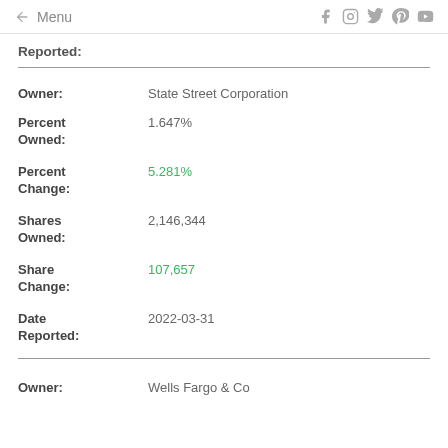← Menu
Reported:
| Field | Value |
| --- | --- |
| Owner: | State Street Corporation |
| Percent Owned: | 1.647% |
| Percent Change: | 5.281% |
| Shares Owned: | 2,146,344 |
| Share Change: | 107,657 |
| Date Reported: | 2022-03-31 |
Owner: Wells Fargo & Co